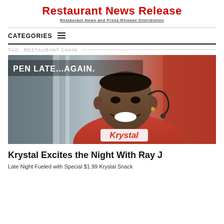Restaurant News Release
Restaurant News and Press Release Distribution
CATEGORIES
TAG: RESTAURANT CHAIN
[Figure (photo): Man smiling wearing a red Krystal t-shirt with text overlay reading 'PEN LATE...AGAIN.']
Krystal Excites the Night With Ray J
Late Night Fueled with Special $1.99 Krystal Snack